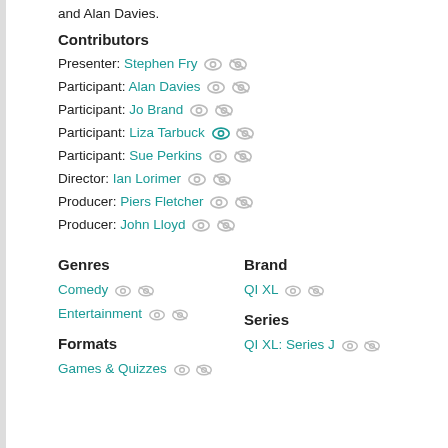and Alan Davies.
Contributors
Presenter: Stephen Fry
Participant: Alan Davies
Participant: Jo Brand
Participant: Liza Tarbuck
Participant: Sue Perkins
Director: Ian Lorimer
Producer: Piers Fletcher
Producer: John Lloyd
Genres
Brand
Comedy
QI XL
Entertainment
Formats
Series
Games & Quizzes
QI XL: Series J